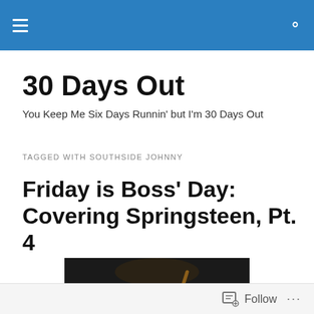Navigation bar with hamburger menu and search icon
30 Days Out
You Keep Me Six Days Runnin' but I'm 30 Days Out
TAGGED WITH SOUTHSIDE JOHNNY
Friday is Boss' Day: Covering Springsteen, Pt. 4
[Figure (photo): Dark concert photo of a musician holding a guitar raised, performing on stage]
Follow ...